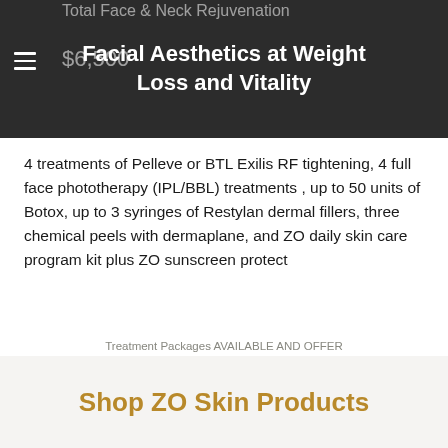Facial Aesthetics at Weight Loss and Vitality
Total Face & Neck Rejuvenation Package
$6,500
4 treatments of Pelleve or BTL Exilis RF tightening, 4 full face phototherapy (IPL/BBL) treatments , up to 50 units of Botox, up to 3 syringes of Restylan dermal fillers, three chemical peels with dermaplane, and ZO daily skin care program kit plus ZO sunscreen protect
Treatment Packages AVAILABLE AND OFFER CONSIDERABLE SAVING AND VALUE TO OUR CUSTOMERS.
Shop ZO Skin Products